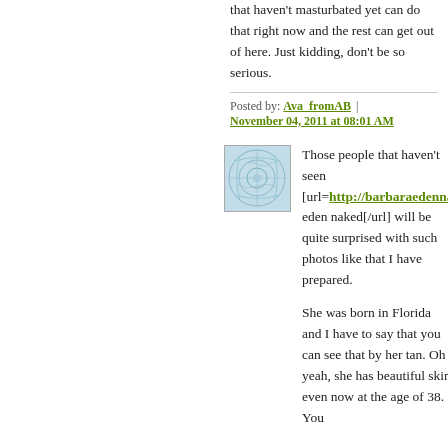that haven't masturbated yet can do that right now and the rest can get out of here. Just kidding, don't be so serious.
Posted by: Ava_fromAB | November 04, 2011 at 08:01 AM
[Figure (photo): User avatar thumbnail - abstract blue pattern]
Those people that haven't seen [url=http://barbaraedenna eden naked[/url] will be quite surprised with such photos like that I have prepared.
She was born in Florida and I have to say that you can see that by her tan. Oh yeah, she has beautiful skin even now at the age of 38. You